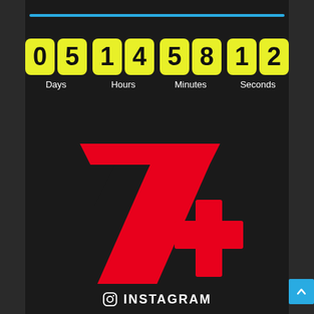[Figure (infographic): Countdown timer showing 05 Days, 14 Hours, 58 Minutes, 12 Seconds with yellow digit boxes on dark background]
[Figure (logo): 7+ (Seven Plus) streaming service logo in red]
INSTAGRAM